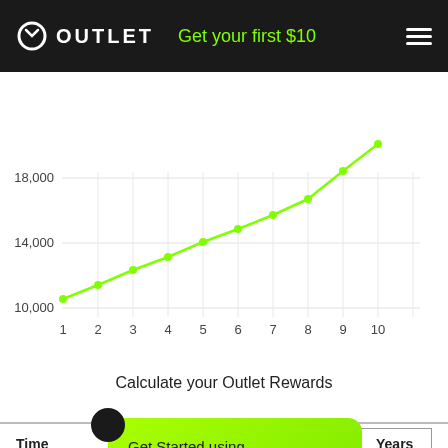OUTLET  Get your first $10
[Figure (line-chart): Calculate your Outlet Rewards]
Calculate your Outlet Rewards
Get Started using Outlet today.
Put your
Time
Years
Initia